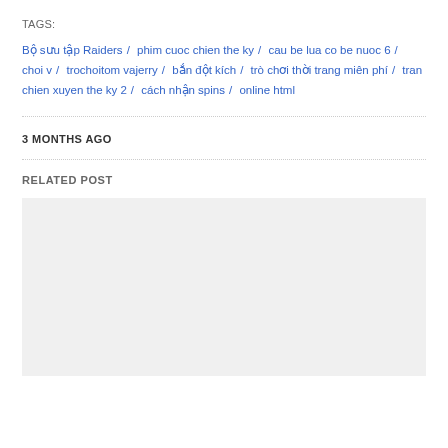TAGS:
Bộ sưu tập Raiders / phim cuoc chien the ky / cau be lua co be nuoc 6 / choi v / trochoitom vajerry / bắn đột kích / trò chơi thời trang miên phí / tran chien xuyen the ky 2 / cách nhận spins / online html
3 MONTHS AGO
RELATED POST